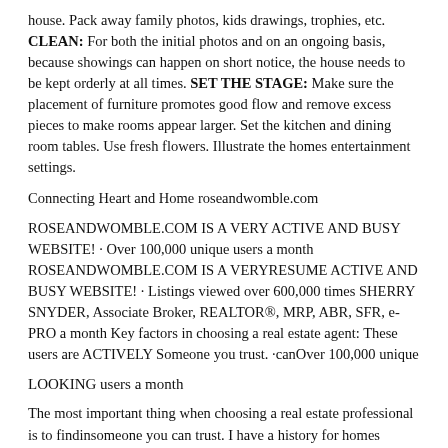house. Pack away family photos, kids drawings, trophies, etc. CLEAN: For both the initial photos and on an ongoing basis, because showings can happen on short notice, the house needs to be kept orderly at all times. SET THE STAGE: Make sure the placement of furniture promotes good flow and remove excess pieces to make rooms appear larger. Set the kitchen and dining room tables. Use fresh flowers. Illustrate the homes entertainment settings.
Connecting Heart and Home roseandwomble.com
ROSEANDWOMBLE.COM IS A VERY ACTIVE AND BUSY WEBSITE! · Over 100,000 unique users a month ROSEANDWOMBLE.COM IS A VERYRESUME ACTIVE AND BUSY WEBSITE! · Listings viewed over 600,000 times SHERRY SNYDER, Associate Broker, REALTOR®, MRP, ABR, SFR, e-PRO a month Key factors in choosing a real estate agent: These users are ACTIVELY Someone you trust. ·canOver 100,000 unique
LOOKING users a month
The most important thing when choosing a real estate professional is to findinsomeone you can trust. I have a history for homes Hampton Roads. viewed overwith 600,000 times of